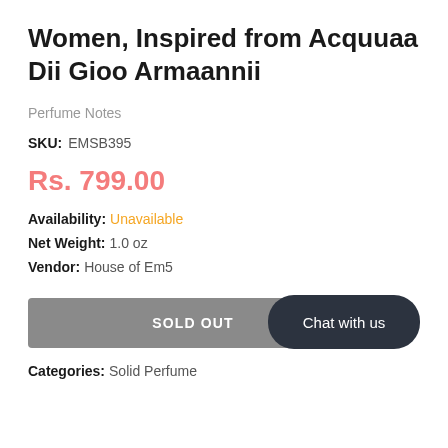Women, Inspired from Acquuaa Dii Gioo Armaannii
Perfume Notes
SKU:  EMSB395
Rs. 799.00
Availability:  Unavailable
Net Weight:  1.0 oz
Vendor:  House of Em5
SOLD OUT
Chat with us
Categories:  Solid Perfume